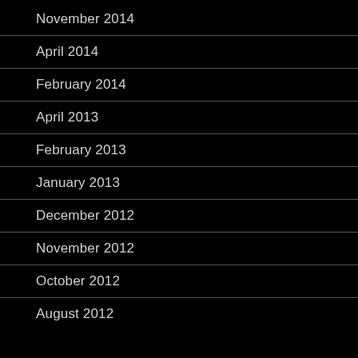November 2014
April 2014
February 2014
April 2013
February 2013
January 2013
December 2012
November 2012
October 2012
August 2012